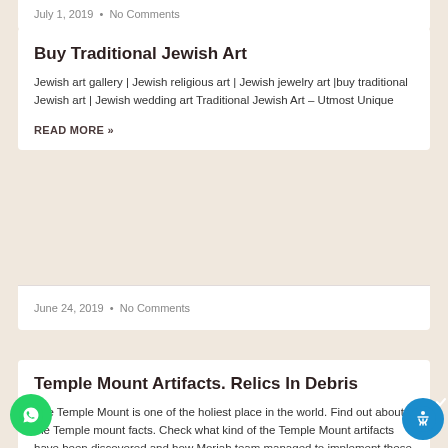July 1, 2019  •  No Comments
Buy Traditional Jewish Art
Jewish art gallery | Jewish religious art | Jewish jewelry art |buy traditional Jewish art | Jewish wedding art Traditional Jewish Art – Utmost Unique
READ MORE »
June 24, 2019  •  No Comments
Temple Mount Artifacts. Relics In Debris
The Temple Mount is one of the holiest place in the world. Find out about the Temple mount facts. Check what kind of the Temple Mount artifacts have been discovered and how Moriah team managed to implement these artifacts into amazing diamond collections with Jerusalem stone.
READ MORE »